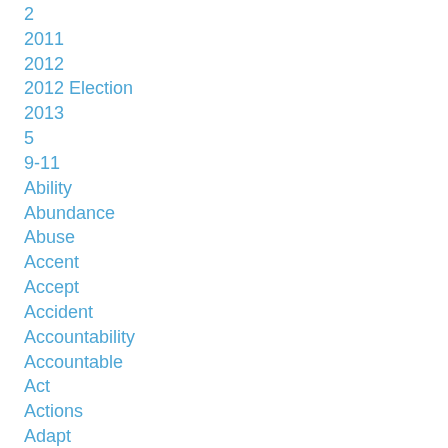2
2011
2012
2012 Election
2013
5
9-11
Ability
Abundance
Abuse
Accent
Accept
Accident
Accountability
Accountable
Act
Actions
Adapt
Adjust
Adjustment
Administrative